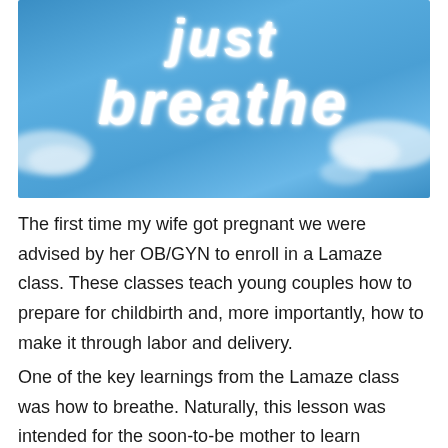[Figure (photo): Blue sky photograph with white cloud-formed text reading 'just breathe'. The words appear to be made of clouds against a bright blue sky background with additional scattered clouds.]
The first time my wife got pregnant we were advised by her OB/GYN to enroll in a Lamaze class. These classes teach young couples how to prepare for childbirth and, more importantly, how to make it through labor and delivery.
One of the key learnings from the Lamaze class was how to breathe. Naturally, this lesson was intended for the soon-to-be mother to learn breathing techniques during labor.